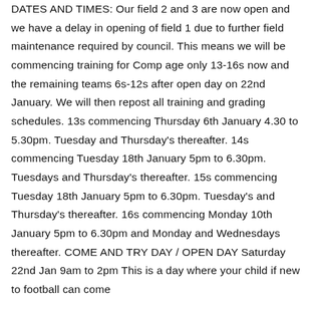DATES AND TIMES: Our field 2 and 3 are now open and we have a delay in opening of field 1 due to further field maintenance required by council. This means we will be commencing training for Comp age only 13-16s now and the remaining teams 6s-12s after open day on 22nd January. We will then repost all training and grading schedules. 13s commencing Thursday 6th January 4.30 to 5.30pm. Tuesday and Thursday's thereafter. 14s commencing Tuesday 18th January 5pm to 6.30pm. Tuesdays and Thursday's thereafter. 15s commencing Tuesday 18th January 5pm to 6.30pm. Tuesday's and Thursday's thereafter. 16s commencing Monday 10th January 5pm to 6.30pm and Monday and Wednesdays thereafter. COME AND TRY DAY / OPEN DAY Saturday 22nd Jan 9am to 2pm This is a day where your child if new to football can come